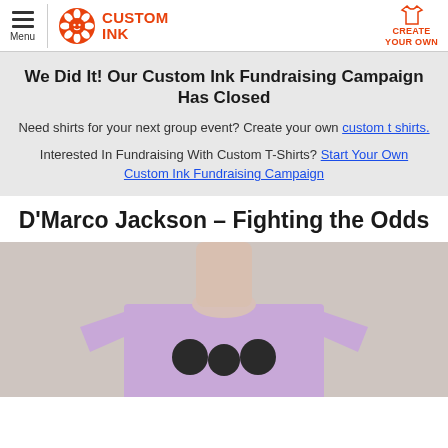Menu | CUSTOM INK | CREATE YOUR OWN
We Did It! Our Custom Ink Fundraising Campaign Has Closed
Need shirts for your next group event? Create your own custom t shirts.
Interested In Fundraising With Custom T-Shirts? Start Your Own Custom Ink Fundraising Campaign
D'Marco Jackson - Fighting the Odds
[Figure (photo): Person wearing a purple/lavender t-shirt with a graphic design, photo cropped at the torso showing the shirt design]